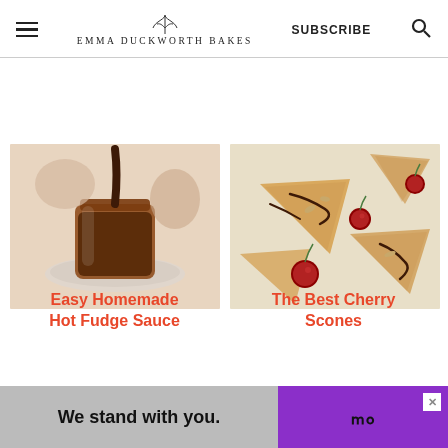Emma Duckworth Bakes | SUBSCRIBE
[Figure (photo): A jar of homemade hot fudge sauce being poured, sitting on a white ceramic plate]
[Figure (photo): Cherry scones with chocolate drizzle and fresh cherries on a baking sheet]
Easy Homemade Hot Fudge Sauce
The Best Cherry Scones
[Figure (infographic): Advertisement banner: 'We stand with you.' with purple background on right side and close button]